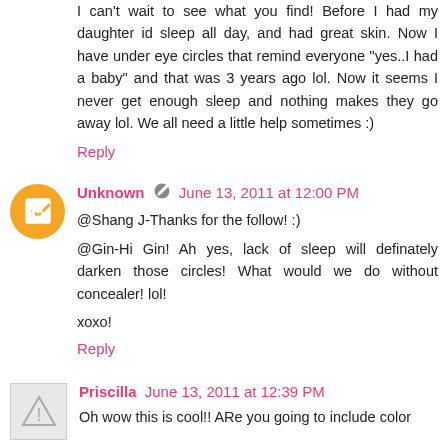I can't wait to see what you find! Before I had my daughter id sleep all day, and had great skin. Now I have under eye circles that remind everyone "yes..I had a baby" and that was 3 years ago lol. Now it seems I never get enough sleep and nothing makes they go away lol. We all need a little help sometimes :)
Reply
Unknown  June 13, 2011 at 12:00 PM
@Shang J-Thanks for the follow! :)
@Gin-Hi Gin! Ah yes, lack of sleep will definately darken those circles! What would we do without concealer! lol!
xoxo!
Reply
Priscilla  June 13, 2011 at 12:39 PM
Oh wow this is cool!! ARe you going to include color